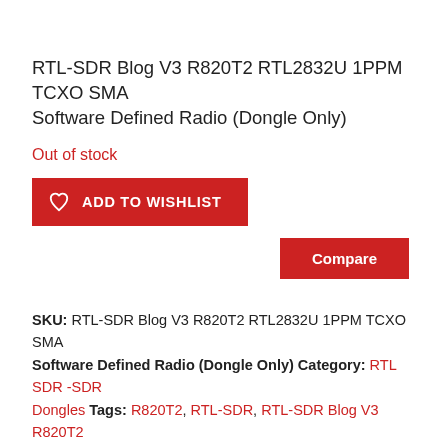RTL-SDR Blog V3 R820T2 RTL2832U 1PPM TCXO SMA Software Defined Radio (Dongle Only)
Out of stock
ADD TO WISHLIST
Compare
SKU: RTL-SDR Blog V3 R820T2 RTL2832U 1PPM TCXO SMA Software Defined Radio (Dongle Only) Category: RTL SDR -SDR Dongles Tags: R820T2, RTL-SDR, RTL-SDR Blog V3 R820T2 RTL2832U 1PPM TCXO SMA Software Defined Radio (Dongle Only), RTL-SDR.COM, SMA V3 Dongle.